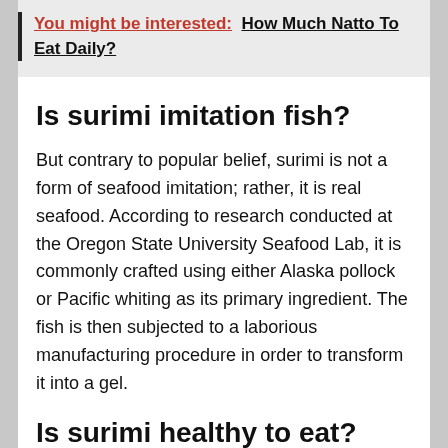You might be interested: How Much Natto To Eat Daily?
Is surimi imitation fish?
But contrary to popular belief, surimi is not a form of seafood imitation; rather, it is real seafood. According to research conducted at the Oregon State University Seafood Lab, it is commonly crafted using either Alaska pollock or Pacific whiting as its primary ingredient. The fish is then subjected to a laborious manufacturing procedure in order to transform it into a gel.
Is surimi healthy to eat?